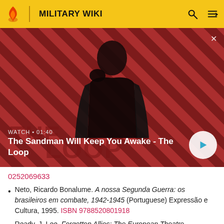MILITARY WIKI
[Figure (screenshot): Video thumbnail showing a dark figure with a crow on shoulder against a red and black diagonal striped background. Title: 'The Sandman Will Keep You Awake - The Loop'. Duration label 'WATCH • 01:40' shown. Play button visible bottom right.]
0252069633
Neto, Ricardo Bonalume. A nossa Segunda Guerra: os brasileiros em combate, 1942-1945 (Portuguese) Expressão e Cultura, 1995. ISBN 9788520801918
Ready, J. Lee. Forgotten Allies: The European Theatre,